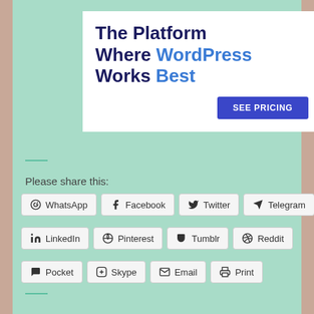[Figure (screenshot): Advertisement banner for WordPress hosting with headline 'The Platform Where WordPress Works Best' and a 'SEE PRICING' button]
Please share this:
WhatsApp
Facebook
Twitter
Telegram
LinkedIn
Pinterest
Tumblr
Reddit
Pocket
Skype
Email
Print
One blogger likes this.